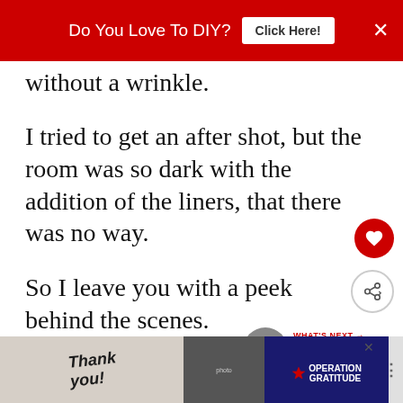Do You Love To DIY? Click Here! ×
without a wrinkle.
I tried to get an after shot, but the room was so dark with the addition of the liners, that there was no way.
So I leave you with a peek behind the scenes.
WHAT'S NEXT → Cookie Sheet Makeover
This is the blind now. It's neat, finished a...                           ...s way.
[Figure (photo): Advertisement banner with thank you image and Operation Gratitude logo]